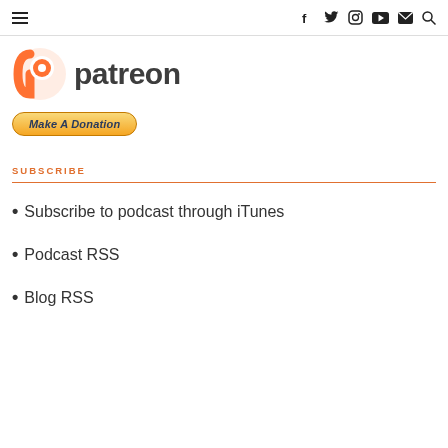Navigation bar with hamburger menu and social icons (f, twitter, instagram, youtube, email, search)
[Figure (logo): Patreon logo with orange P icon and dark text 'patreon']
Make A Donation
SUBSCRIBE
Subscribe to podcast through iTunes
Podcast RSS
Blog RSS